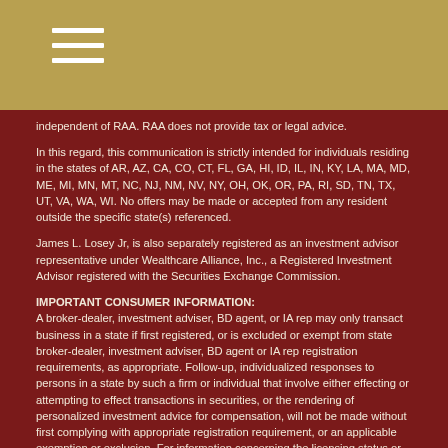independent of RAA. RAA does not provide tax or legal advice.
In this regard, this communication is strictly intended for individuals residing in the states of AR, AZ, CA, CO, CT, FL, GA, HI, ID, IL, IN, KY, LA, MA, MD, ME, MI, MN, MT, NC, NJ, NM, NV, NY, OH, OK, OR, PA, RI, SD, TN, TX, UT, VA, WA, WI. No offers may be made or accepted from any resident outside the specific state(s) referenced.
James L. Losey Jr, is also separately registered as an investment advisor representative under Wealthcare Alliance, Inc., a Registered Investment Advisor registered with the Securities Exchange Commission.
IMPORTANT CONSUMER INFORMATION: A broker-dealer, investment adviser, BD agent, or IA rep may only transact business in a state if first registered, or is excluded or exempt from state broker-dealer, investment adviser, BD agent or IA rep registration requirements, as appropriate. Follow-up, individualized responses to persons in a state by such a firm or individual that involve either effecting or attempting to effect transactions in securities, or the rendering of personalized investment advice for compensation, will not be made without first complying with appropriate registration requirement, or an applicable exemption or exclusion. For information concerning the licensing status or disciplinary history of broker-dealer, investment adviser, BD agent, or IA rep, a consumer should contact his or her state securities law administrator.